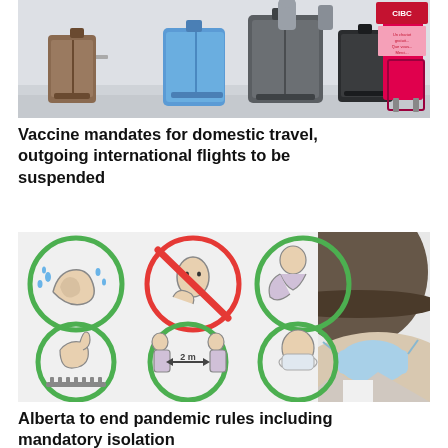[Figure (photo): Airport scene with luggage/suitcases on trolleys, including a blue suitcase and pink/red luggage cart with a CIBC sign]
Vaccine mandates for domestic travel, outgoing international flights to be suspended
[Figure (photo): COVID-19 health guidelines infographic showing icons: hand washing, no touching face (red circle with slash), sneezing into elbow, avoiding touching surfaces, 2m social distancing, wearing mask — with a person wearing a hat and face mask in the foreground]
Alberta to end pandemic rules including mandatory isolation